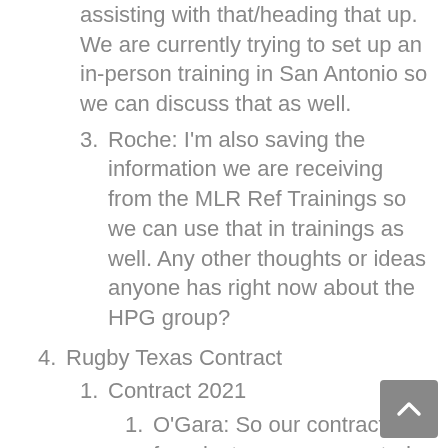assisting with that/heading that up. We are currently trying to set up an in-person training in San Antonio so we can discuss that as well.
3. Roche: I'm also saving the information we are receiving from the MLR Ref Trainings so we can use that in trainings as well. Any other thoughts or ideas anyone has right now about the HPG group?
4. Rugby Texas Contract
1. Contract 2021
1. O'Gara: So our contract from last year was created as a two-year contract so it runs through June 2021. We have plenty of time to create a new contract. They also have a new compliance officer and